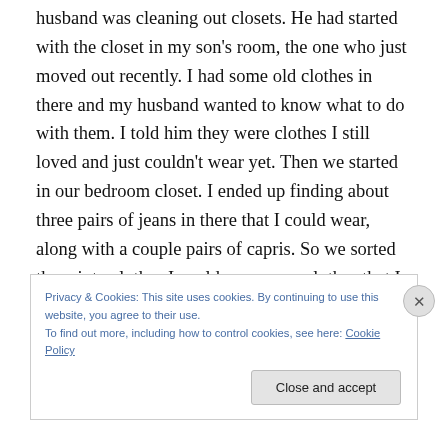husband was cleaning out closets. He had started with the closet in my son's room, the one who just moved out recently. I had some old clothes in there and my husband wanted to know what to do with them. I told him they were clothes I still loved and just couldn't wear yet. Then we started in our bedroom closet. I ended up finding about three pairs of jeans in there that I could wear, along with a couple pairs of capris. So we sorted them into clothes I could wear now, clothes that I could probably wear about five lbs. from now. And clothes that I'll be able to wear
Privacy & Cookies: This site uses cookies. By continuing to use this website, you agree to their use.
To find out more, including how to control cookies, see here: Cookie Policy